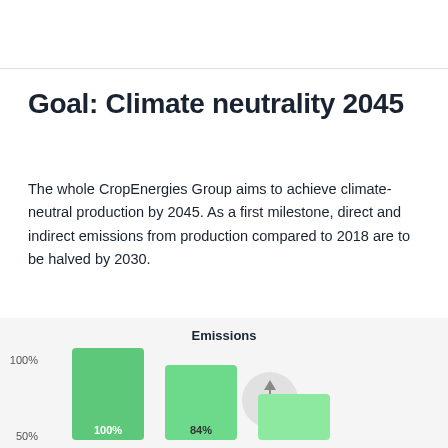Goal: Climate neutrality 2045
The whole CropEnergies Group aims to achieve climate-neutral production by 2045. As a first milestone, direct and indirect emissions from production compared to 2018 are to be halved by 2030.
[Figure (bar-chart): Emissions]